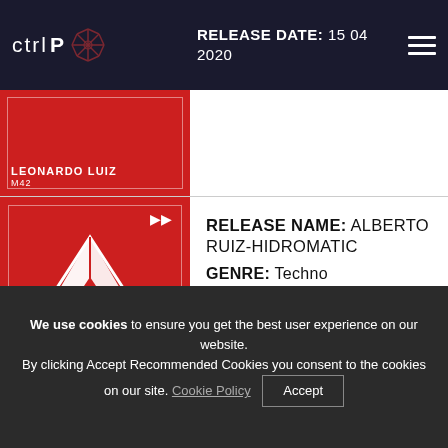ctrl p | RELEASE DATE: 15 04 2020
[Figure (illustration): Album cover for Leonardo Luiz - M42, red background with artist name and title text]
[Figure (illustration): Album cover for Alberto Ruiz - Hidromatic, red background with white geometric triangle/diamond logo, artist name at bottom]
RELEASE NAME: ALBERTO RUIZ-HIDROMATIC
GENRE: Techno
RELEASE DATE: 15 03 2020
We use cookies to ensure you get the best user experience on our website. By clicking Accept Recommended Cookies you consent to the cookies on our site. Cookie Policy  Accept